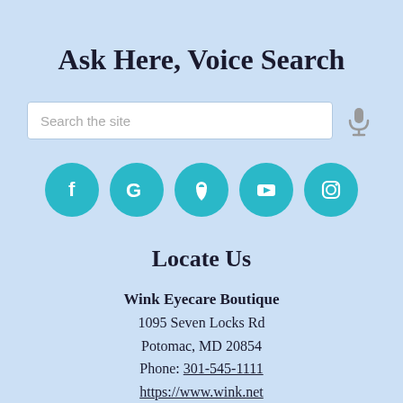Ask Here, Voice Search
[Figure (screenshot): Search bar with placeholder text 'Search the site' and a microphone icon to the right]
[Figure (infographic): Five teal circular social media icons: Facebook (f), Google (G), Location pin, YouTube (play button), Instagram (camera)]
Locate Us
Wink Eyecare Boutique
1095 Seven Locks Rd
Potomac, MD 20854
Phone: 301-545-1111
https://www.wink.net